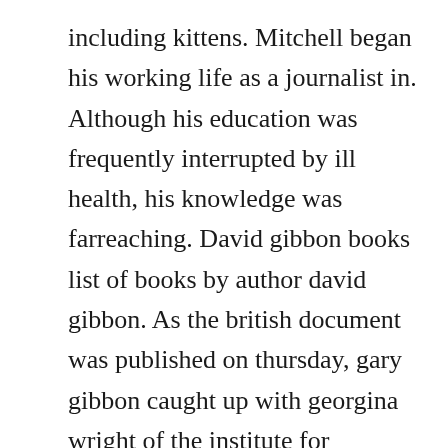including kittens. Mitchell began his working life as a journalist in. Although his education was frequently interrupted by ill health, his knowledge was farreaching. David gibbon books list of books by author david gibbon. As the british document was published on thursday, gary gibbon caught up with georgina wright of the institute for government and same lowe of the centre for european reform to wade through the documents and tell us what they say about the chance of a deal and the shape of a deal. This ebook has been